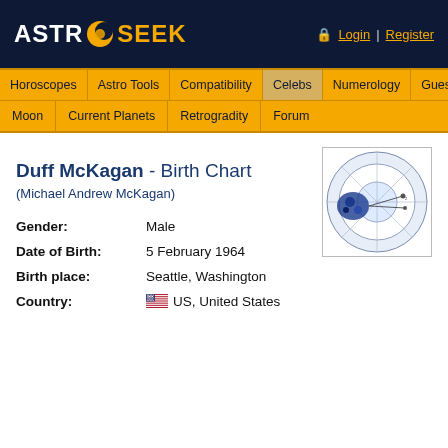ASTRO SEEK - Login | Register
Horoscopes | Astro Tools | Compatibility | Celebs | Numerology | Guess Sign
Moon | Current Planets | Retrogradity | Forum
Duff McKagan - Birth Chart
(Michael Andrew McKagan)
[Figure (other): Astrological birth chart thumbnail showing a circular zodiac wheel with planetary positions plotted for Duff McKagan]
Gender: Male
Date of Birth: 5 February 1964
Birth place: Seattle, Washington
Country: US, United States